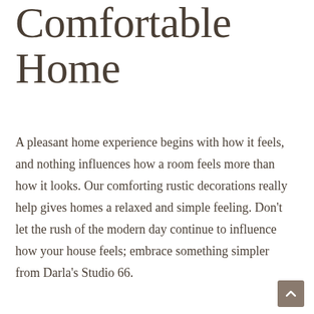Comfortable Home
A pleasant home experience begins with how it feels, and nothing influences how a room feels more than how it looks. Our comforting rustic decorations really help gives homes a relaxed and simple feeling. Don't let the rush of the modern day continue to influence how your house feels; embrace something simpler from Darla's Studio 66.